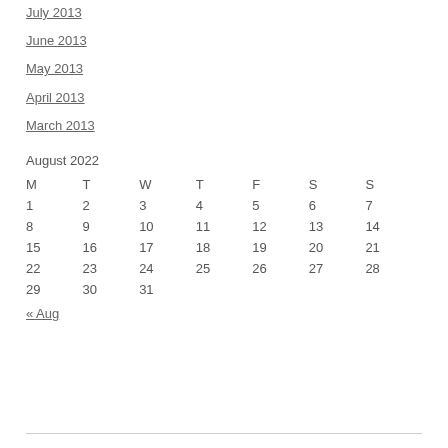July 2013
June 2013
May 2013
April 2013
March 2013
| M | T | W | T | F | S | S |
| --- | --- | --- | --- | --- | --- | --- |
| 1 | 2 | 3 | 4 | 5 | 6 | 7 |
| 8 | 9 | 10 | 11 | 12 | 13 | 14 |
| 15 | 16 | 17 | 18 | 19 | 20 | 21 |
| 22 | 23 | 24 | 25 | 26 | 27 | 28 |
| 29 | 30 | 31 |  |  |  |  |
« Aug